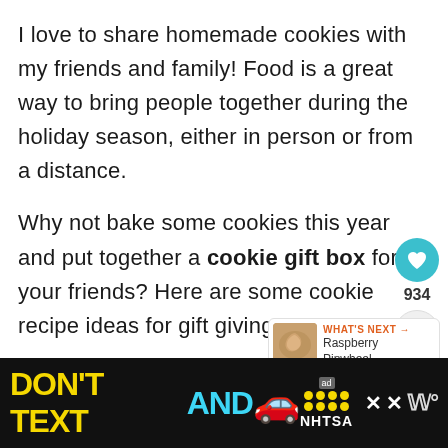I love to share homemade cookies with my friends and family! Food is a great way to bring people together during the holiday season, either in person or from a distance.
Why not bake some cookies this year and put together a cookie gift box for your friends? Here are some cookie recipe ideas for gift giving!
[Figure (screenshot): Heart/like button (teal circle with heart icon), like count 934, share button]
[Figure (screenshot): What's Next panel with cinnamon roll thumbnail image and text: WHAT'S NEXT → Raspberry Pinwheel...]
[Figure (screenshot): Ad banner at bottom: DON'T TEXT AND (red car emoji) ad badge, NHTSA logo with yellow dots, close X, Weathermaster logo]